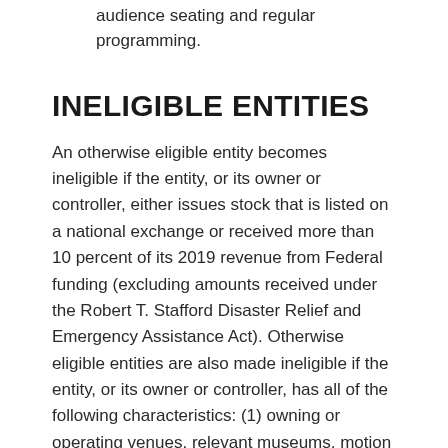audience seating and regular programming.
INELIGIBLE ENTITIES
An otherwise eligible entity becomes ineligible if the entity, or its owner or controller, either issues stock that is listed on a national exchange or received more than 10 percent of its 2019 revenue from Federal funding (excluding amounts received under the Robert T. Stafford Disaster Relief and Emergency Assistance Act). Otherwise eligible entities are also made ineligible if the entity, or its owner or controller, has all of the following characteristics: (1) owning or operating venues, relevant museums, motion picture theatres, talent agencies, or talent management companies in more than one